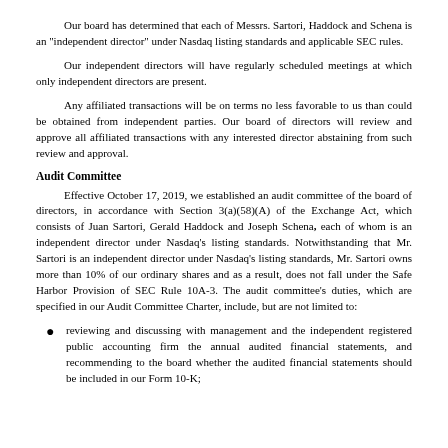Our board has determined that each of Messrs. Sartori, Haddock and Schena is an "independent director" under Nasdaq listing standards and applicable SEC rules.
Our independent directors will have regularly scheduled meetings at which only independent directors are present.
Any affiliated transactions will be on terms no less favorable to us than could be obtained from independent parties. Our board of directors will review and approve all affiliated transactions with any interested director abstaining from such review and approval.
Audit Committee
Effective October 17, 2019, we established an audit committee of the board of directors, in accordance with Section 3(a)(58)(A) of the Exchange Act, which consists of Juan Sartori, Gerald Haddock and Joseph Schena, each of whom is an independent director under Nasdaq's listing standards. Notwithstanding that Mr. Sartori is an independent director under Nasdaq's listing standards, Mr. Sartori owns more than 10% of our ordinary shares and as a result, does not fall under the Safe Harbor Provision of SEC Rule 10A-3. The audit committee's duties, which are specified in our Audit Committee Charter, include, but are not limited to:
reviewing and discussing with management and the independent registered public accounting firm the annual audited financial statements, and recommending to the board whether the audited financial statements should be included in our Form 10-K;